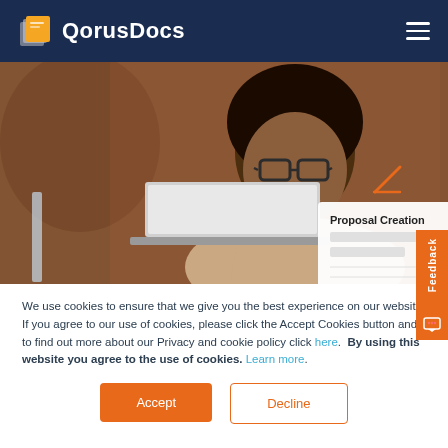QorusDocs
[Figure (photo): Woman with glasses smiling while using a laptop, with a Proposal Creation UI mockup overlay in the lower right of the image]
We use cookies to ensure that we give you the best experience on our website. If you agree to our use of cookies, please click the Accept Cookies button and to find out more about our Privacy and cookie policy click here.  By using this website you agree to the use of cookies. Learn more.
Accept
Decline